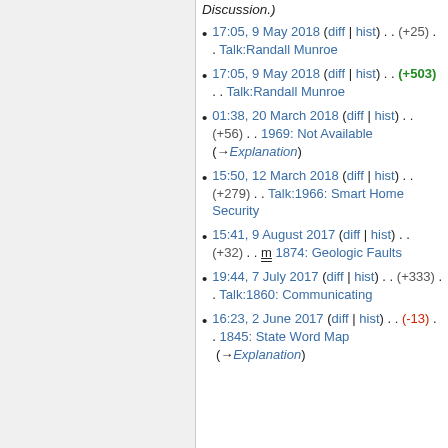Discussion.)
17:05, 9 May 2018 (diff | hist) . . (+25) . . Talk:Randall Munroe
17:05, 9 May 2018 (diff | hist) . . (+503) . . Talk:Randall Munroe
01:38, 20 March 2018 (diff | hist) . . (+56) . . 1969: Not Available  (→Explanation)
15:50, 12 March 2018 (diff | hist) . . (+279) . . Talk:1966: Smart Home Security
15:41, 9 August 2017 (diff | hist) . . (+32) . . m 1874: Geologic Faults
19:44, 7 July 2017 (diff | hist) . . (+333) . . Talk:1860: Communicating
16:23, 2 June 2017 (diff | hist) . . (-13) . . 1845: State Word Map  (→Explanation)